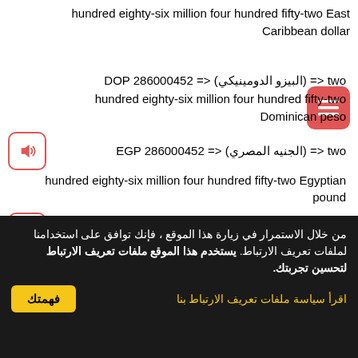hundred eighty-six million four hundred fifty-two East Caribbean dollar
286000452 DOP <= (البيزو الدومينيكي) <= two hundred eighty-six million four hundred fifty-two Dominican peso
286000452 EGP <= (الجنيه المصري) <= two hundred eighty-six million four hundred fifty-two Egyptian pound
286000452 XAF <= (فرنك وسط أفريقيا) <= two hundred eighty-six million four hundred fifty-two Central African CFA franc
من خلال الاستمرار في زيارة هذا الموقع ، فإنك توافق على استخدامنا لملفات تعريف الارتباط. يستخدم هذا الموقع ملفات تعريف الارتباط لتحسين تجربتك.
اقرأ سياسة ملفات تعريف الارتباط بنا
فهمتك